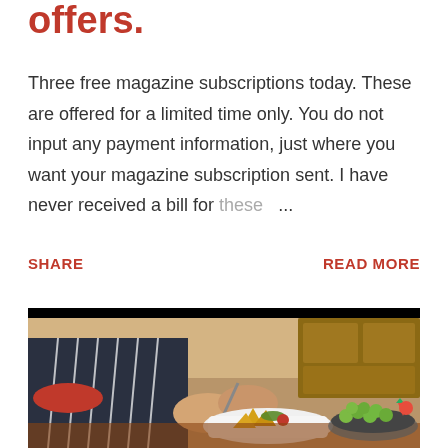offers.
Three free magazine subscriptions today. These are offered for a limited time only. You do not input any payment information, just where you want your magazine subscription sent. I have never received a bill for these ...
SHARE
READ MORE
[Figure (photo): Person in striped apron and red shirt plating food on a white square dish with tortilla chips at a wooden table, with a bowl of fruit including grapes and strawberries visible to the right, kitchen cabinets in background.]